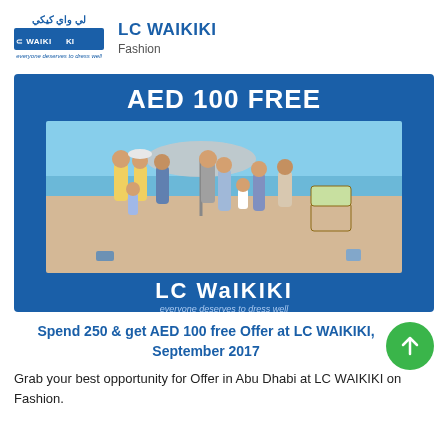[Figure (logo): LC WAIKIKI logo with Arabic text above and tagline below]
LC WAIKIKI
Fashion
[Figure (photo): LC WAIKIKI advertisement banner with blue background showing 'AED 100 FREE' text at top, a beach photo of a group of people in summer clothing, and LC WAIKIKI logo at the bottom]
Spend 250 & get AED 100 free Offer at LC WAIKIKI, September 2017
Grab your best opportunity for Offer in Abu Dhabi at LC WAIKIKI on Fashion.